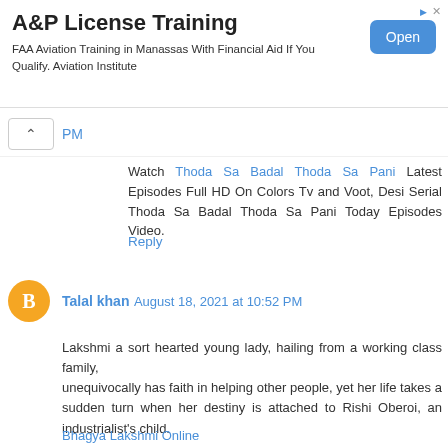[Figure (screenshot): Advertisement banner for A&P License Training. Title: 'A&P License Training'. Description: 'FAA Aviation Training in Manassas With Financial Aid If You Qualify. Aviation Institute'. Blue 'Open' button on the right.]
PM
Watch Thoda Sa Badal Thoda Sa Pani Latest Episodes Full HD On Colors Tv and Voot, Desi Serial Thoda Sa Badal Thoda Sa Pani Today Episodes Video.
Reply
Talal khan  August 18, 2021 at 10:52 PM
Lakshmi a sort hearted young lady, hailing from a working class family,
unequivocally has faith in helping other people, yet her life takes a sudden turn when her destiny is attached to Rishi Oberoi, an industrialist's child.
Bhagya Lakshmi Online